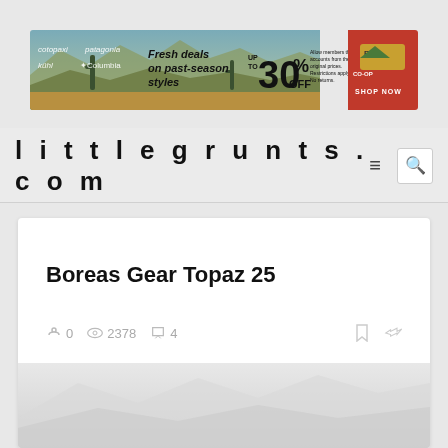[Figure (infographic): Banner advertisement for REI showing 'Fresh deals on past-season styles up to 30% OFF' with brand logos including Cotopaxi, Patagonia, Kühl, Columbia, and a red SHOP NOW button on the right.]
littlegrunts.com
Boreas Gear Topaz 25
0  2378  4
[Figure (photo): Partially visible photo of outdoor gear or landscape, appearing blurred/faded at bottom of page.]